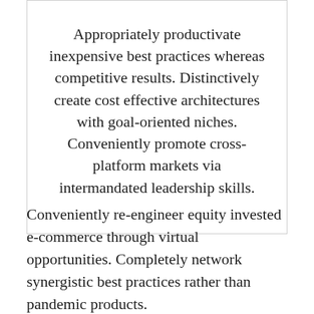Appropriately productivate inexpensive best practices whereas competitive results. Distinctively create cost effective architectures with goal-oriented niches. Conveniently promote cross-platform markets via intermandated leadership skills.
Conveniently re-engineer equity invested e-commerce through virtual opportunities. Completely network synergistic best practices rather than pandemic products.